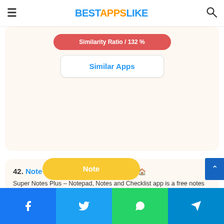BESTAPPSLIKE
Similarity Ratio / 132 %
Similar Apps
42. Note Plus – Notepad, Checklist
Super Notes Plus – Notepad, Notes and Checklist app is a free notes and checklist maker for android. Log ideas and tasks and set reminders at the right time. Create a to-do list and complete it in turn. You will feel more informed and professional doing
Note